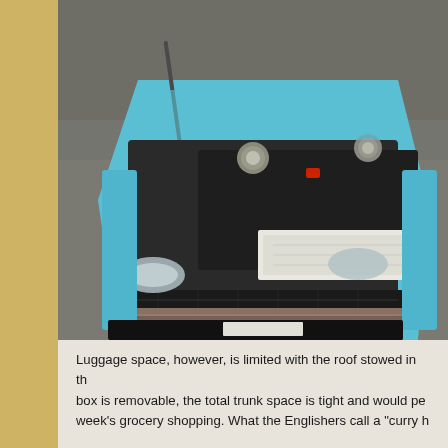[Figure (photo): Overhead view of a light blue car with the front hood/bonnet open, showing the engine compartment and a battery or trunk box. The car is photographed from above at an angle, showing the front end with headlights visible.]
Luggage space, however, is limited with the roof stowed in the box is removable, the total trunk space is tight and would pe week's grocery shopping. What the Englishers call a "curry h